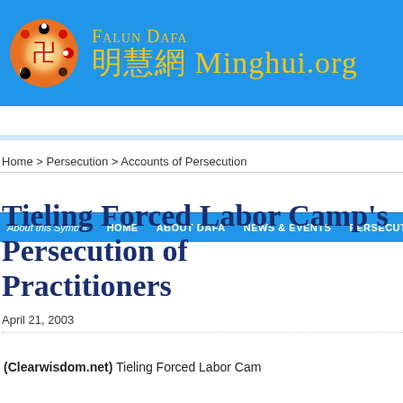[Figure (logo): Falun Dafa / Minghui.org website header banner with blue background, circular Falun symbol logo on left, and site name in gold text]
About this Symbol   HOME   ABOUT DAFA   NEWS & EVENTS   PERSECUTION
Home > Persecution > Accounts of Persecution
Tieling Forced Labor Camp's Persecution of Practitioners
April 21, 2003
(Clearwisdom.net) Tieling Forced Labor Camp